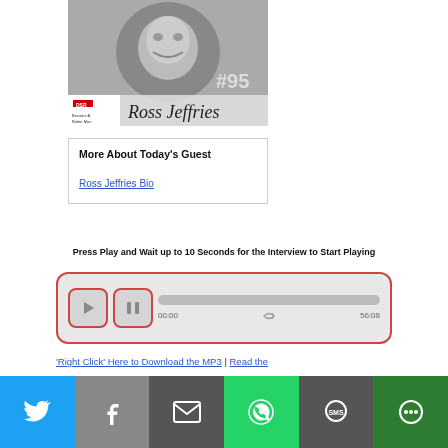[Figure (photo): Black and white photo of a smiling middle-aged man, with podcast branding overlay showing '#95' and 'Ross Jeffries' handwritten text and 'DSR Become A Better Man' logo]
More About Today's Guest
Ross Jeffries Bio
Press Play and Wait up to 10 Seconds for the Interview to Start Playing
[Figure (screenshot): Audio player widget with play button, pause button, progress bar showing 00:00 / 56:08 with repeat icon]
'Right Click' Here to Download the MP3 | Read the
[Figure (infographic): Social share bar with Twitter, Facebook, Email, WhatsApp, SMS, and More options]